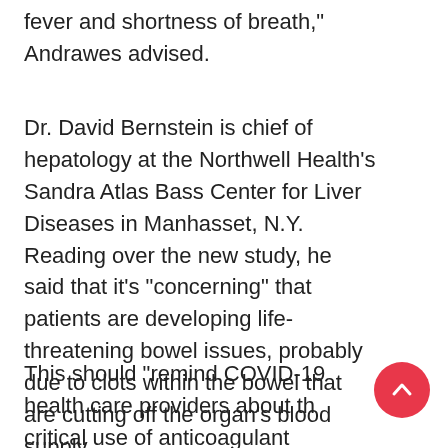fever and shortness of breath," Andrawes advised.
Dr. David Bernstein is chief of hepatology at the Northwell Health's Sandra Atlas Bass Center for Liver Diseases in Manhasset, N.Y. Reading over the new study, he said that it's "concerning" that patients are developing life-threatening bowel issues, probably due to clots within the bowel that are cutting off the organ's blood supply.
This should "remind COVID-19 health care providers about the critical use of anticoagulant therapy early on in the disease, in